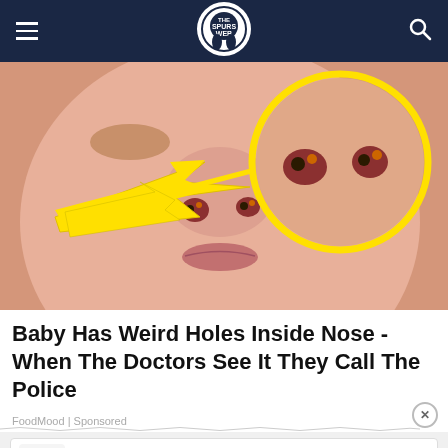The Spurs Web (logo) — navigation header
[Figure (photo): Close-up photo of a baby's face with nose visible. Yellow arrow pointing at nostrils, and a yellow circle magnifying the nostril area showing small dark objects inside. Clickbait-style annotated image.]
Baby Has Weird Holes Inside Nose - When The Doctors See It They Call The Police
FoodMood | Sponsored
[Figure (other): Advertisement banner for Durusu Club Hotel — Istanbul Havalimanı Oteli with green 'Aç' button]